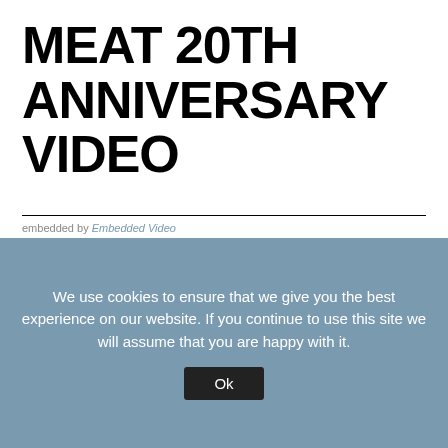MEAT 20TH ANNIVERSARY VIDEO
The Sexual Politics of Meat by Carol J. Adams is one of the most important books on animal rights and related matters. This video celebrating a new edition published for its twentieth anniversary explains why.
embedded by Embedded Video
We use cookies to ensure that we give you the best experience on our website. If you continue to use this site we will assume that you are happy with it. Ok